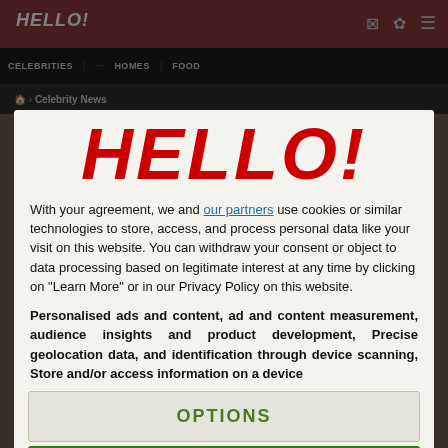[Figure (screenshot): HELLO! magazine website screenshot showing navigation bar with CELEBRITIES, HOMES, FOOD categories, breadcrumb showing Celebrity News, partially visible article page in background with dark overlay]
[Figure (logo): Large red bold italic HELLO! magazine logo centered in modal dialog]
With your agreement, we and our partners use cookies or similar technologies to store, access, and process personal data like your visit on this website. You can withdraw your consent or object to data processing based on legitimate interest at any time by clicking on "Learn More" or in our Privacy Policy on this website.
Personalised ads and content, ad and content measurement, audience insights and product development, Precise geolocation data, and identification through device scanning, Store and/or access information on a device
OPTIONS
I AGREE